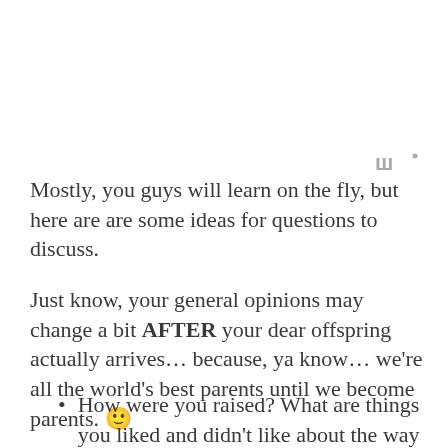[Figure (logo): Small logo mark in gray, resembling stylized letter W with a small superscript dot]
Mostly, you guys will learn on the fly, but here are are some ideas for questions to discuss.
Just know, your general opinions may change a bit AFTER your dear offspring actually arrives… because, ya know… we're all the world's best parents until we become parents. 🙂
How were you raised? What are things you liked and didn't like about the way your